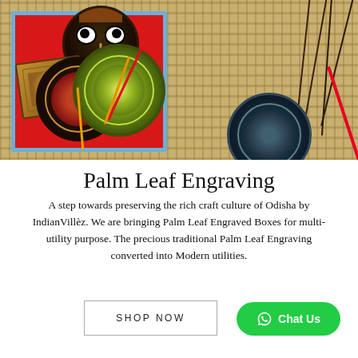[Figure (photo): Overhead photo of Indian Palm Leaf Engraved decorative items including round coasters with mandala/floral designs, a Jagannath face piece, a square engraved brass box, all arranged in a red box with blue border on a bamboo mat background, with colorful strings/ribbons]
Palm Leaf Engraving
A step towards preserving the rich craft culture of Odisha by IndianVillèz. We are bringing Palm Leaf Engraved Boxes for multi-utility purpose. The precious traditional Palm Leaf Engraving converted into Modern utilities.
SHOP NOW
Chat Us